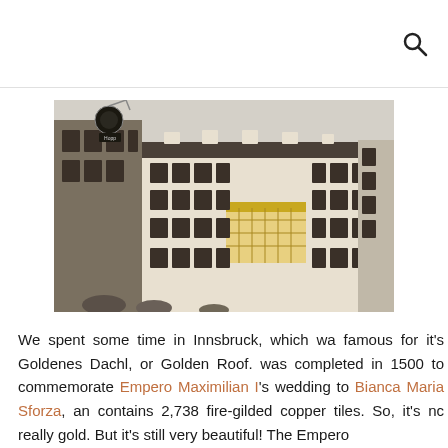🔍
[Figure (photo): Street-level photo of the Goldenes Dachl (Golden Roof) building in Innsbruck, Austria, showing a large multi-story building with many shuttered windows, flower boxes, and a gilded copper roof balcony. A hanging sign for 'Hopp' is visible on the left side.]
We spent some time in Innsbruck, which was famous for it's Goldenes Dachl, or Golden Roof. It was completed in 1500 to commemorate Emperor Maximilian I's wedding to Bianca Maria Sforza, and contains 2,738 fire-gilded copper tiles. So, it's not really gold. But it's still very beautiful! The Emperor